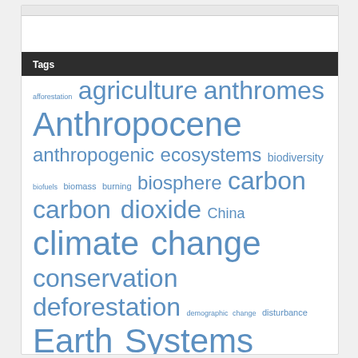Tags
afforestation agriculture anthromes Anthropocene anthropogenic ecosystems biodiversity biofuels biomass burning biosphere carbon carbon dioxide China climate change conservation deforestation demographic change disturbance Earth Systems environmental governance environmentalism environmental justice fire forestry forests geoengineering global change global warming greenhouse gas emissions habitat Holocene human